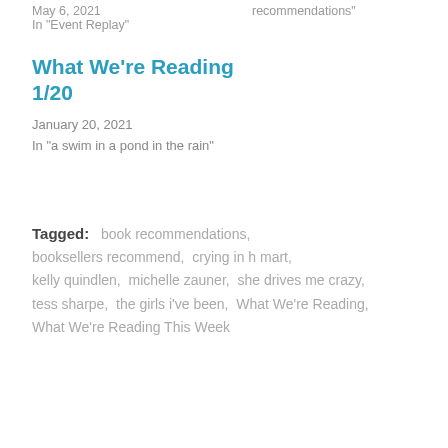May 6, 2021  In "Event Replay"    recommendations"
What We're Reading 1/20
January 20, 2021
In "a swim in a pond in the rain"
Tagged:  book recommendations,  booksellers recommend,  crying in h mart,  kelly quindlen,  michelle zauner,  she drives me crazy,  tess sharpe,  the girls i've been,  What We're Reading,  What We're Reading This Week